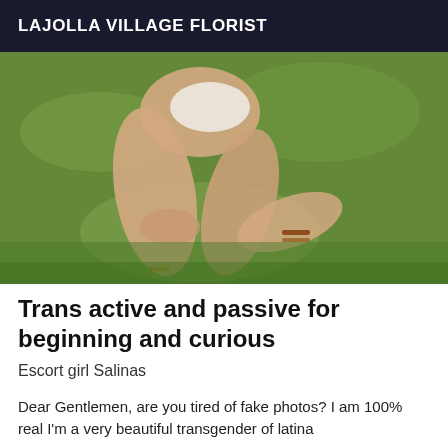LAJOLLA VILLAGE FLORIST
[Figure (photo): Person kneeling on grass wearing white top and bracelets/anklets]
Trans active and passive for beginning and curious
Escort girl Salinas
Dear Gentlemen, are you tired of fake photos? I am 100% real I'm a very beautiful transgender of latina